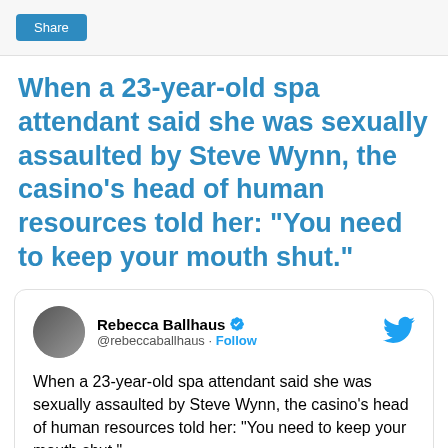[Figure (screenshot): Share button (blue rounded rectangle with white text 'Share')]
When a 23-year-old spa attendant said she was sexually assaulted by Steve Wynn, the casino's head of human resources told her: "You need to keep your mouth shut."
[Figure (screenshot): Embedded tweet from @rebeccaballhaus (Rebecca Ballhaus, verified) reading: When a 23-year-old spa attendant said she was sexually assaulted by Steve Wynn, the casino's head of human resources told her: "You need to keep your mouth shut."]